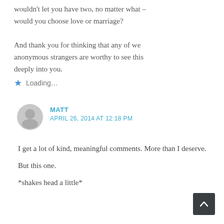wouldn't let you have two, no matter what – would you choose love or marriage?
And thank you for thinking that any of we anonymous strangers are worthy to see this deeply into you.
Loading...
MATT
APRIL 26, 2014 AT 12:18 PM
I get a lot of kind, meaningful comments. More than I deserve.
But this one.
*shakes head a little*